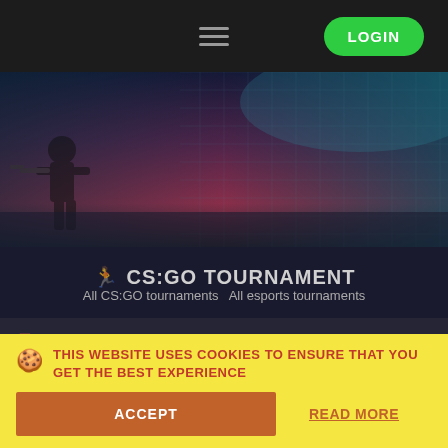[Figure (screenshot): Top navigation bar with hamburger menu icon and green LOGIN button on dark background]
[Figure (illustration): Gaming banner image with purple-to-teal gradient, digital grid pattern, and CS:GO character silhouette]
CS:GO TOURNAMENT
All CS:GO tournaments    All esports tournaments
TOURNAMENT LINKS
Sazka eLEAGUE Spring 2022
Group Stage
THIS WEBSITE USES COOKIES TO ENSURE THAT YOU GET THE BEST EXPERIENCE
ACCEPT
READ MORE